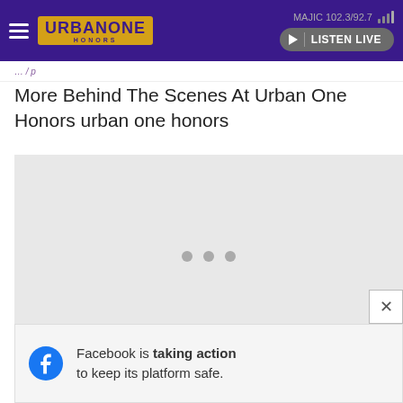MAJIC 102.3/92.7 | LISTEN LIVE
More Behind The Scenes At Urban One Honors urban one honors
[Figure (other): Loading media placeholder with three grey dots centered on a light grey background]
Facebook is taking action to keep its platform safe.